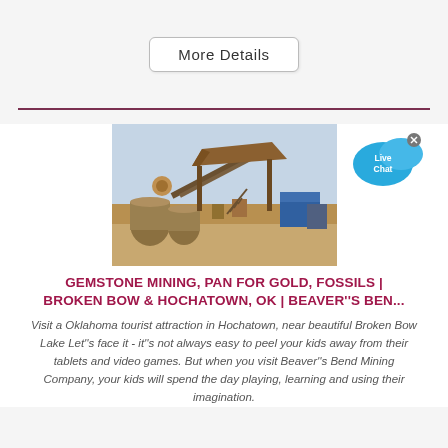More Details
[Figure (photo): Industrial mining equipment and machinery at a mining site with sandy/desert terrain and blue sky background.]
[Figure (illustration): Live Chat speech bubble icon in blue with 'Live Chat' text and a small x close button.]
GEMSTONE MINING, PAN FOR GOLD, FOSSILS | BROKEN BOW & HOCHATOWN, OK | BEAVER''S BEN...
Visit a Oklahoma tourist attraction in Hochatown, near beautiful Broken Bow Lake Let''s face it - it''s not always easy to peel your kids away from their tablets and video games. But when you visit Beaver''s Bend Mining Company, your kids will spend the day playing, learning and using their imagination.